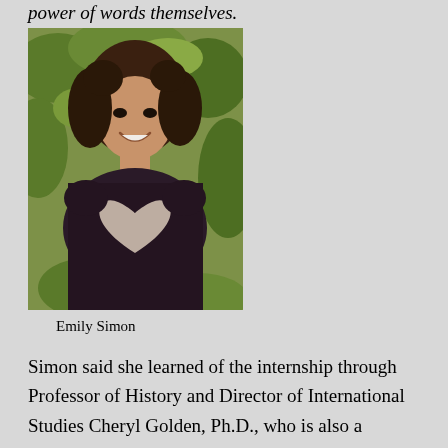power of words themselves.
[Figure (photo): Portrait photo of Emily Simon, a young woman with curly dark hair, smiling, wearing a dark floral shirt with a heart design, standing in front of green foliage.]
Emily Simon
Simon said she learned of the internship through Professor of History and Director of International Studies Cheryl Golden, Ph.D., who is also a